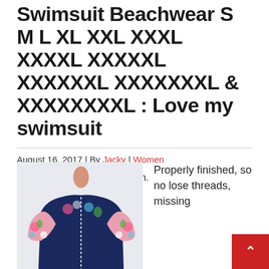Swimsuit Beachwear S M L XL XXL XXXL XXXXL XXXXXL XXXXXXL XXXXXXXL & XXXXXXXXL : Love my swimsuit
August 16, 2017 | By Jacky | Women
Really nice fit would buy again.
[Figure (photo): Woman wearing a navy blue and floral printed short-sleeve swimsuit/wetsuit, visible from approximately waist up]
Properly finished, so no lose threads, missing